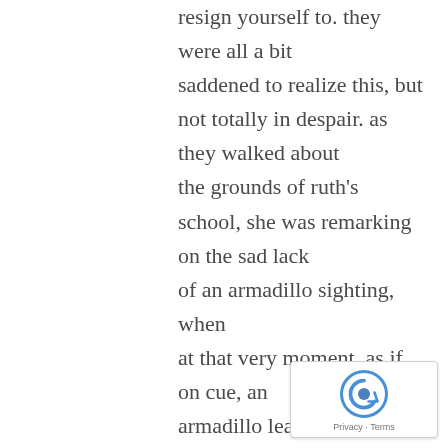resign yourself to. they were all a bit saddened to realize this, but not totally in despair. as they walked about the grounds of ruth's school, she was remarking on the sad lack of an armadillo sighting, when at that very moment, as if on cue, an armadillo leapt from the foliage and bounded across the path in front of them (in my mind he's wearing a red cape), much to their surprise and delight! the trip was saved and (as far as i know) they have continued to live happily ever after. as for myself, i have now encountered armadillos on several